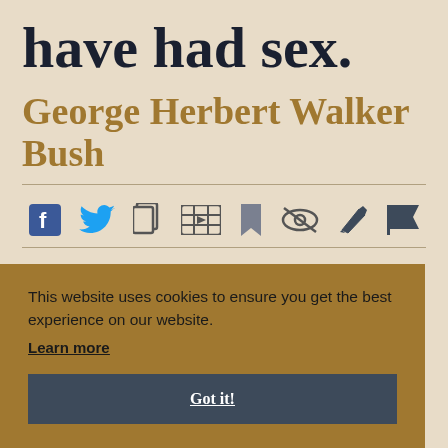have had sex.
George Herbert Walker Bush
[Figure (infographic): Row of social/action icons: Facebook, Twitter, copy, video, bookmark, hide/eye-strikethrough, pen/edit, flag]
This website uses cookies to ensure you get the best experience on our website.
Learn more
Got it!